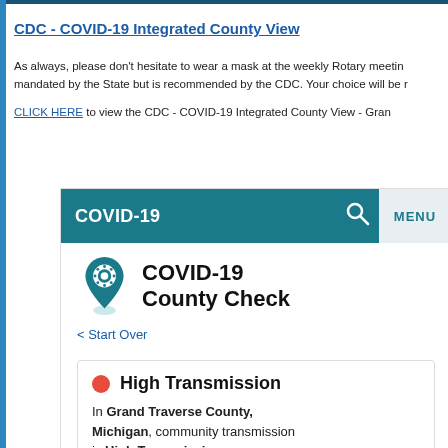CDC - COVID-19 Integrated County View
As always, please don’t hesitate to wear a mask at the weekly Rotary meeting. It is not mandated by the State but is recommended by the CDC. Your choice will be respected.
CLICK HERE to view the CDC - COVID-19 Integrated County View - Grand Traverse County
[Figure (screenshot): Screenshot of CDC COVID-19 County Check tool showing a teal navigation bar with 'COVID-19', search icon, and MENU button. Below is a COVID-19 County Check header with a map pin icon containing a coronavirus symbol. A 'Start Over' link is shown. A box displays 'High Transmission' with a red dot and text 'In Grand Traverse County, Michigan, community transmission is High Transmission'.]